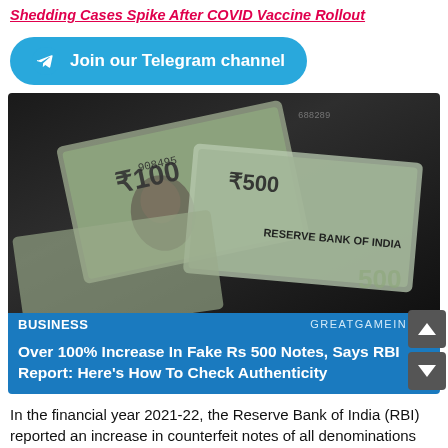Shedding Cases Spike After COVID Vaccine Rollout
[Figure (other): Telegram channel join button with Telegram logo icon, teal/blue background]
[Figure (photo): Photo of Indian Rupee banknotes (Rs 500 and Rs 100 notes) scattered, with Reserve Bank of India text visible. Overlaid with BUSINESS category label and GREATGAMEINDIA source, and headline: Over 100% Increase In Fake Rs 500 Notes, Says RBI Report: Here's How To Check Authenticity]
In the financial year 2021-22, the Reserve Bank of India (RBI) reported an increase in counterfeit notes of all denominations (FY22).
According to a recent report by the central bank, of all the